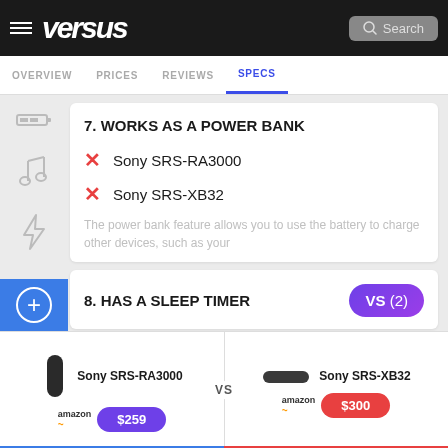versus — OVERVIEW  PRICES  REVIEWS  SPECS
7. WORKS AS A POWER BANK
✗ Sony SRS-RA3000
✗ Sony SRS-XB32
The power bank feature allows you to use the battery to charge other devices, such as your
8. HAS A SLEEP TIMER
Sony SRS-RA3000 VS Sony SRS-XB32 — amazon $259 — amazon $300